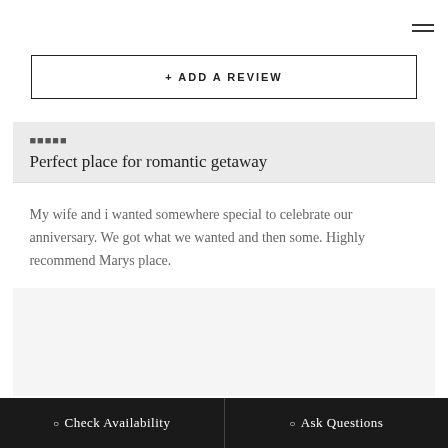≡
+ ADD A REVIEW
★★★★★
Perfect place for romantic getaway
My wife and i wanted somewhere special to celebrate our anniversary. We got what we wanted and then some. Highly recommend Marys place.
⊙ Check Availability   ⊙ Ask Questions